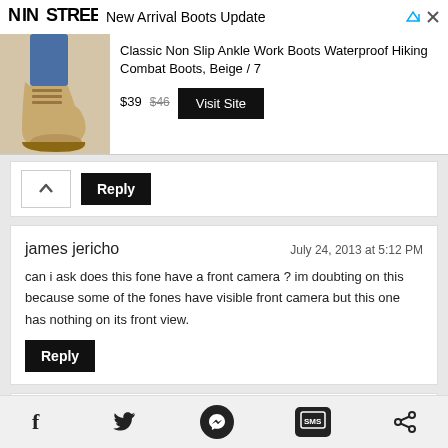[Figure (screenshot): Ad banner for NINSTREE New Arrival Boots Update showing a beige ankle boot, product title, price $39 (was $46), and Visit Site button]
Reply
james jericho
July 24, 2013 at 5:12 PM
can i ask does this fone have a front camera ? im doubting on this because some of the fones have visible front camera but this one has nothing on its front view.
Reply
Adrian
July 24, 2013 at 5:14 PM
Hi! According to CloudFone it comes with a VGA front camera http://www.cloudfonemobile.com/products/excite-320g
Reply
Facebook  Twitter  Messenger  SMS  Share